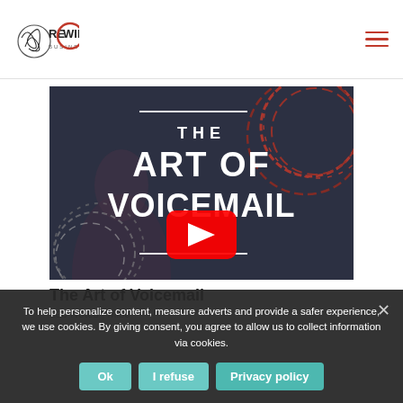REWIRE BUSINESS LAB
[Figure (screenshot): Video thumbnail for 'The Art of Voicemail' showing text overlay on dark background with red and gray circular brush strokes and a YouTube play button]
The Art of Voicemail
Lab Notes | Misc
To help personalize content, measure adverts and provide a safer experience, we use cookies. By giving consent, you agree to allow us to collect information via cookies.